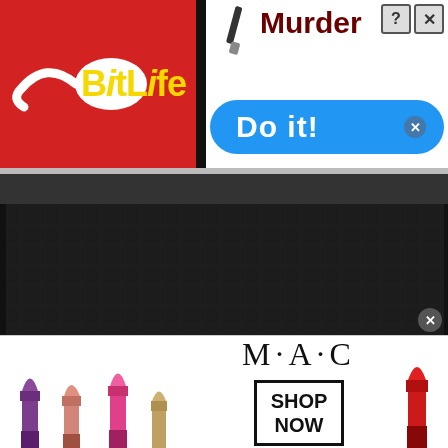[Figure (screenshot): BitLife mobile game advertisement banner at top of page. Left half has red background with yellow 'BitLife' logo and sperm icon. Right half shows 'Murder' text in dark red with knife icon above a blue rounded button with white 'Do it!' text and a small X close button. Top right has help (?) and close (X) icon boxes.]
[Figure (screenshot): Dark gray/black web browser content area taking up the middle portion of the page, showing a mostly empty dark background webpage.]
[Figure (screenshot): MAC Cosmetics advertisement banner at bottom. Shows colorful lipsticks (purple, pink, red) on left, MAC logo in center, SHOP NOW box on right, and a red lipstick on far right. Small gray X close button at top right of banner.]